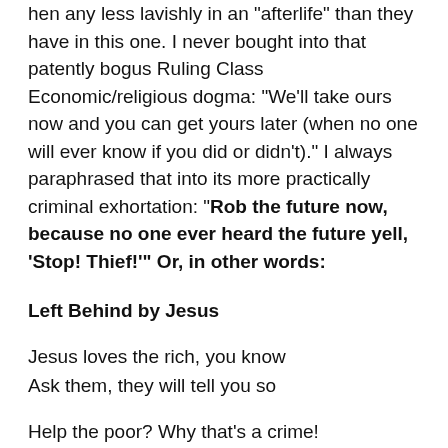hen any less lavishly in an 'afterlife' than they have in this one. I never bought into that patently bogus Ruling Class Economic/religious dogma: “We’ll take ours now and you can get yours later (when no one will ever know if you did or didn’t).” I always paraphrased that into its more practically criminal exhortation: “Rob the future now, because no one ever heard the future yell, ‘Stop! Thief!’” Or, in other words:
Left Behind by Jesus
Jesus loves the rich, you know
Ask them, they will tell you so
Help the poor? Why that’s a crime!
Best to work them overtime
Off the books, though, lest they say